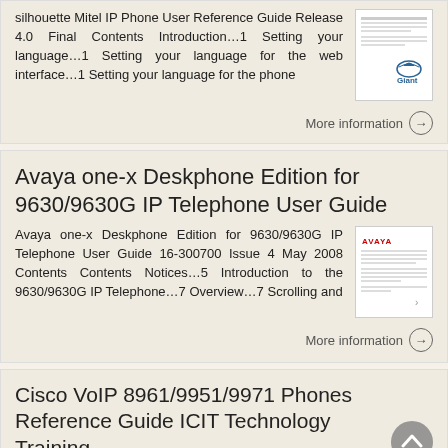silhouette Mitel IP Phone User Reference Guide Release 4.0 Final Contents Introduction…1 Setting your language…1 Setting your language for the web interface…1 Setting your language for the phone
More information →
Avaya one-x Deskphone Edition for 9630/9630G IP Telephone User Guide
Avaya one-x Deskphone Edition for 9630/9630G IP Telephone User Guide 16-300700 Issue 4 May 2008 Contents Contents Notices…5 Introduction to the 9630/9630G IP Telephone…7 Overview…7 Scrolling and
More information →
Cisco VoIP 8961/9951/9971 Phones Reference Guide ICIT Technology Training